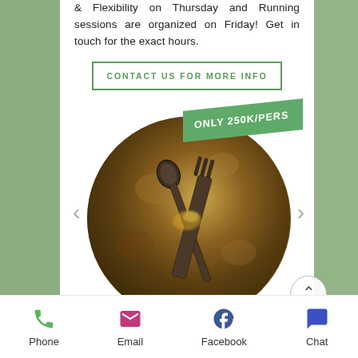& Flexibility on Thursday and Running sessions are organized on Friday! Get in touch for the exact hours.
CONTACT US FOR MORE INFO
[Figure (photo): Circular cropped photo of metallic utensils (fork and spoon) on a rustic stone/wood surface with golden tones. A green badge overlay reads 'ONLY 250K/PERS'.]
Phone | Email | Facebook | Chat